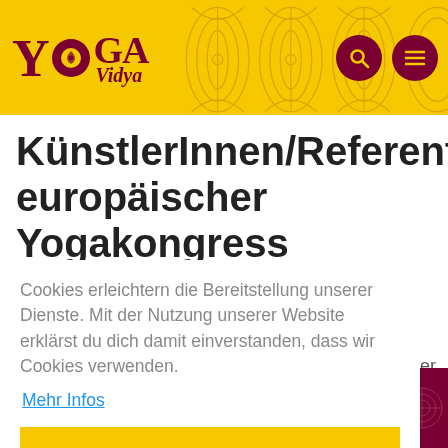[Figure (logo): Yoga Vidya logo — stylized Y, O, G, A letters in dark red on gold background with 'Vidya' text and circular emblem]
KünstlerInnen/ReferentInnen europäischer Yogakongress 2022
Cookies erleichtern die Bereitstellung unserer Dienste. Mit der Nutzung unserer Website erklärst du dich damit einverstanden, dass wir Cookies verwenden.
Mehr Infos
OK
Online anmelden  spenden  Kontakt